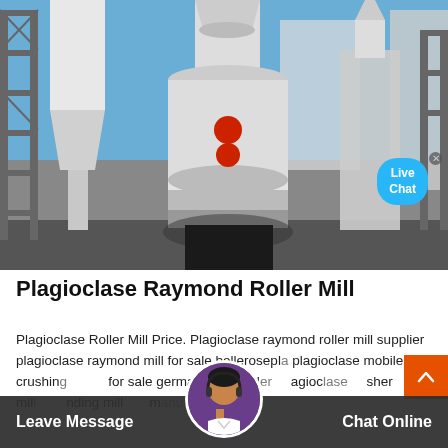[Figure (photo): Industrial raymond roller mill machinery installation outdoors with blue sky background, featuring large white grinding mill towers and scaffold structures]
Plagioclase Raymond Roller Mill
Plagioclase Roller Mill Price. Plagioclase raymond roller mill supplier plagioclase raymond mill for sale belleroseplagioclase mobile crushing for sale german roller mill plagioclase crusher mill grinding mill Leave Message Chat Online
[Figure (photo): Live Chat bubble overlay on top right of industrial photo]
[Figure (photo): Customer service agent avatar at bottom center chat bar]